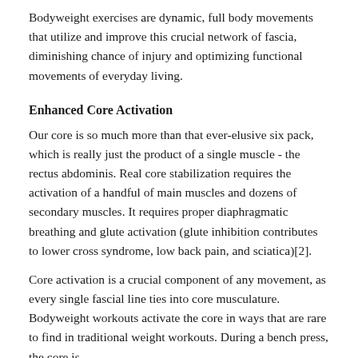Bodyweight exercises are dynamic, full body movements that utilize and improve this crucial network of fascia, diminishing chance of injury and optimizing functional movements of everyday living.
Enhanced Core Activation
Our core is so much more than that ever-elusive six pack, which is really just the product of a single muscle - the rectus abdominis. Real core stabilization requires the activation of a handful of main muscles and dozens of secondary muscles. It requires proper diaphragmatic breathing and glute activation (glute inhibition contributes to lower cross syndrome, low back pain, and sciatica)[2].
Core activation is a crucial component of any movement, as every single fascial line ties into core musculature. Bodyweight workouts activate the core in ways that are rare to find in traditional weight workouts. During a bench press, the core is